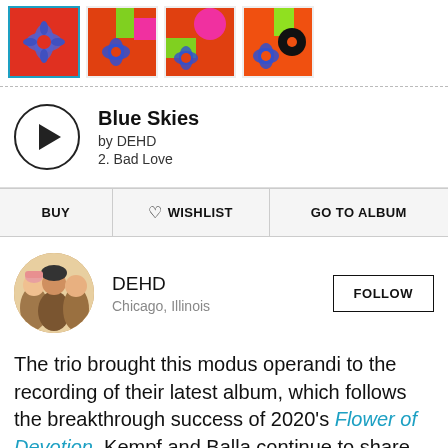[Figure (screenshot): Row of four album cover thumbnails with colorful artwork. First one has a blue selection border.]
Blue Skies
by DEHD
2. Bad Love
| BUY | ♡ WISHLIST | GO TO ALBUM |
| --- | --- | --- |
[Figure (photo): Circular artist photo of DEHD band members]
DEHD
Chicago, Illinois
FOLLOW
The trio brought this modus operandi to the recording of their latest album, which follows the breakthrough success of 2020's Flower of Devotion. Kempf and Balla continue to share vocal duties, with